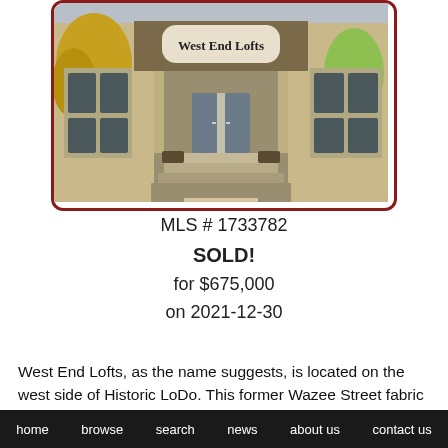[Figure (photo): Exterior photo of West End Lofts building entrance with brick facade, glass doors, steps, and autumn trees. Red rounded border.]
MLS # 1733782
SOLD!
for $675,000
on 2021-12-30
West End Lofts, as the name suggests, is located on the west side of Historic LoDo. This former Wazee Street fabric outlet building was renovated and turned into ground retail space with
home   browse   search   news   about us   contact us